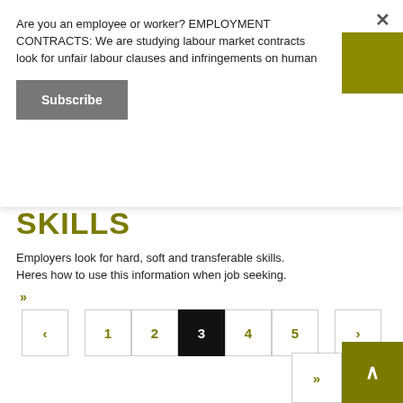Are you an employee or worker? EMPLOYMENT CONTRACTS: We are studying labour market contracts look for unfair labour clauses and infringements on human
Subscribe
SOFT AND HARD SKILLS
Employers look for hard, soft and transferable skills. Heres how to use this information when job seeking.
»
< 1 2 3 4 5 > »